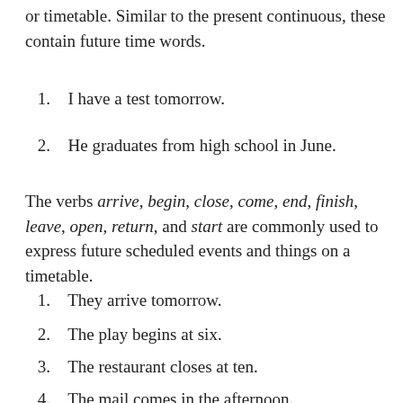or timetable. Similar to the present continuous, these contain future time words.
1.  I have a test tomorrow.
2.  He graduates from high school in June.
The verbs arrive, begin, close, come, end, finish, leave, open, return, and start are commonly used to express future scheduled events and things on a timetable.
1.  They arrive tomorrow.
2.  The play begins at six.
3.  The restaurant closes at ten.
4.  The mail comes in the afternoon.